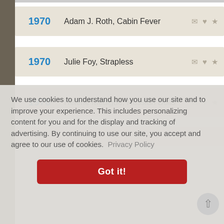1970 — Adam J. Roth, Cabin Fever
1970 — Julie Foy, Strapless
1970 — Hélène Médigue, Russian Dolls
We use cookies to understand how you use our site and to improve your experience. This includes personalizing content for you and for the display and tracking of advertising. By continuing to use our site, you accept and agree to our use of cookies.  Privacy Policy
Got it!